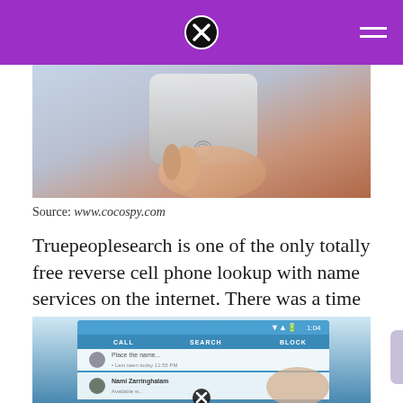[Figure (photo): Hand holding a white smartphone, close-up shot with brick wall background]
Source: www.cocospy.com
Truepeoplesearch is one of the only totally free reverse cell phone lookup with name services on the internet. There was a time you could use google’s phonebook search for cell phone lookup by name.
[Figure (screenshot): Screenshot of a phone app showing CALL, SEARCH, BLOCK tabs with contact list entries including Nami Zarringhalam]